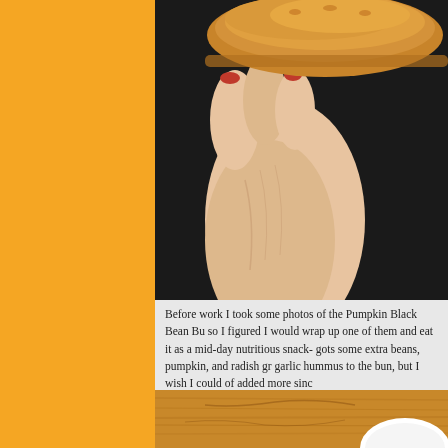[Figure (photo): A hand holding a bread bun or burger bun, viewed from below, against a dark background. The bun is golden-brown and textured. The hand has painted fingernails.]
Before work I took some photos of the Pumpkin Black Bean Bu so I figured I would wrap up one of them and eat it as a mid-day nutritious snack- gots some extra beans, pumpkin, and radish gr garlic hummus to the bun, but I wish I could of added more sinc
[Figure (photo): A wooden cutting board surface with warm brown tones, with a partial view of a white circular object (plate or bowl) at the bottom right corner.]